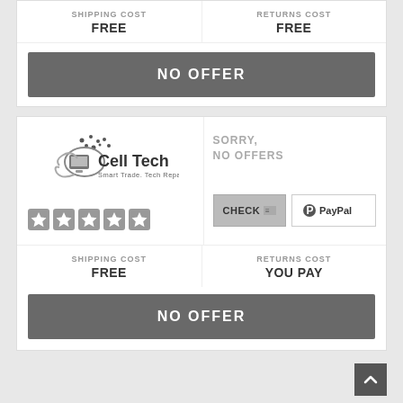SHIPPING COST FREE | RETURNS COST FREE
NO OFFER
[Figure (logo): Cell Tech Smart Trade Tech Repair logo with 5 stars rating]
SORRY, NO OFFERS
CHECK | PayPal
SHIPPING COST FREE | RETURNS COST YOU PAY
NO OFFER